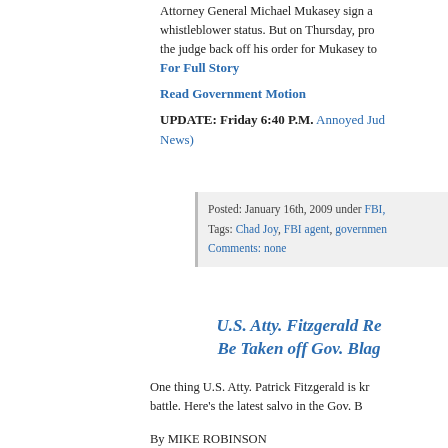Attorney General Michael Mukasey sign a whistleblower status. But on Thursday, pro the judge back off his order for Mukasey to
For Full Story
Read Government Motion
UPDATE: Friday 6:40 P.M. Annoyed Jud News)
Posted: January 16th, 2009 under FBI, Tags: Chad Joy, FBI agent, governmen Comments: none
U.S. Atty. Fitzgerald Re Be Taken off Gov. Blag
One thing U.S. Atty. Patrick Fitzgerald is kr battle. Here’s the latest salvo in the Gov. B
By MIKE ROBINSON
Associated Press Writer
CHICAGO — Federal prosecutors fired ba U.S. Attorney Patrick J. Fitzgerald’s comme strongly worded that he should be taken of Blagojevich.